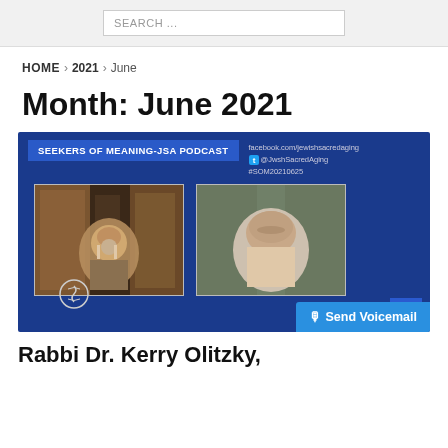SEARCH ...
HOME > 2021 > June
Month: June 2021
[Figure (screenshot): Seekers of Meaning-JSA Podcast video thumbnail showing two men in a video call. Left person is an older man with gray beard and glasses in a book-lined office. Right person is a bald older man with gray beard in a white shirt in front of bookshelves. Banner reads: SEEKERS OF MEANING-JSA PODCAST with facebook.com/jewishsacredaging, @JwshSacredAging, #SOM20210625]
Rabbi Dr. Kerry Olitzky,